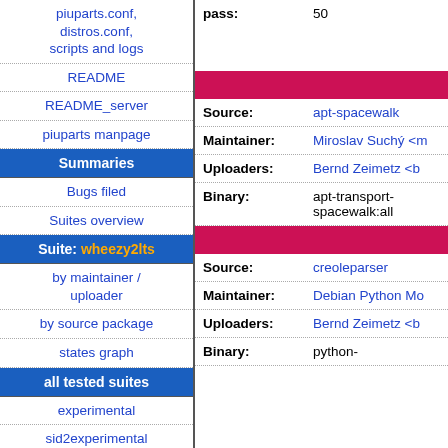| Navigation | Content |
| --- | --- |
| piuparts.conf, distros.conf, scripts and logs | pass: 50 |
| README |  |
| README_server | Source: apt-spacewalk |
| piuparts manpage | Maintainer: Miroslav Suchý <m |
| Summaries (header) | Uploaders: Bernd Zeimetz <b |
| Bugs filed | Binary: apt-transport-spacewalk:all |
| Suites overview |  |
| Suite: wheezy2lts (header) | Source: creoleparser |
| by maintainer / uploader | Maintainer: Debian Python Mo |
| by source package | Uploaders: Bernd Zeimetz <b |
| states graph | Binary: python- |
| all tested suites (header) |  |
| experimental |  |
| sid2experimental |  |
| sid |  |
| sid-strict |  |